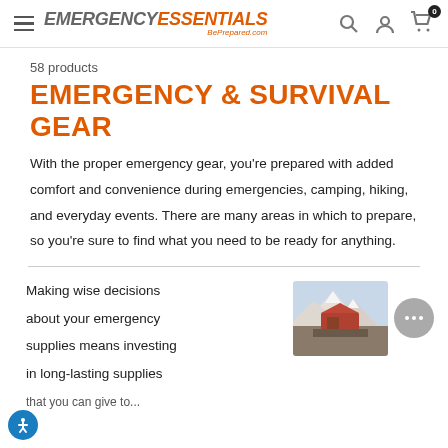EMERGENCY ESSENTIALS BePrepared.com
58 products
EMERGENCY & SURVIVAL GEAR
With the proper emergency gear, you're prepared with added comfort and convenience during emergencies, camping, hiking, and everyday events. There are many areas in which to prepare, so you're sure to find what you need to be ready for anything.
Making wise decisions about your emergency supplies means investing in long-lasting supplies
[Figure (photo): Photo of a tent/shelter structure with mountains in the background]